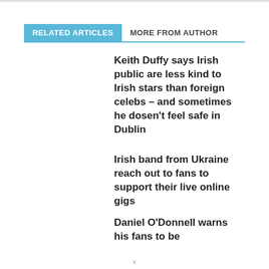RELATED ARTICLES
MORE FROM AUTHOR
Keith Duffy says Irish public are less kind to Irish stars than foreign celebs – and sometimes he dosen't feel safe in Dublin
Irish band from Ukraine reach out to fans to support their live online gigs
Daniel O'Donnell warns his fans to be